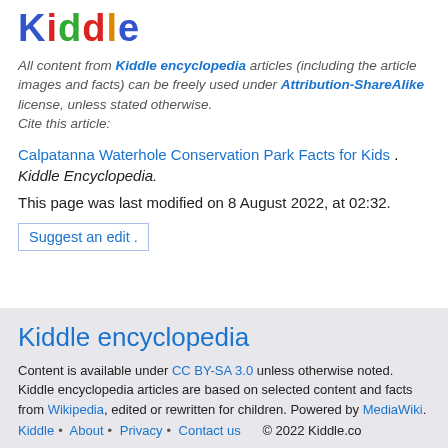[Figure (logo): Kiddle logo with colorful letters]
All content from Kiddle encyclopedia articles (including the article images and facts) can be freely used under Attribution-ShareAlike license, unless stated otherwise. Cite this article:
Calpatanna Waterhole Conservation Park Facts for Kids. Kiddle Encyclopedia.
This page was last modified on 8 August 2022, at 02:32.
Suggest an edit .
Kiddle encyclopedia
Content is available under CC BY-SA 3.0 unless otherwise noted. Kiddle encyclopedia articles are based on selected content and facts from Wikipedia, edited or rewritten for children. Powered by MediaWiki.
Kiddle • About • Privacy • Contact us © 2022 Kiddle.co